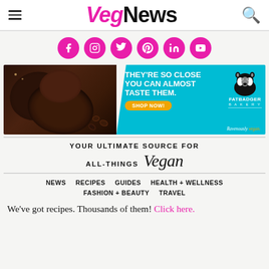VegNews
[Figure (infographic): Social media icons row: Facebook, Instagram, Twitter, Pinterest, LinkedIn, YouTube — all in pink/magenta circles]
[Figure (photo): Fat Badger Bakery advertisement banner showing chocolate cookies on left, teal background with text THEY'RE SO CLOSE YOU CAN ALMOST TASTE THEM. SHOP NOW! and Fat Badger Bakery logo. Ravenously vegan.]
YOUR ULTIMATE SOURCE FOR ALL-THINGS Vegan
NEWS   RECIPES   GUIDES   HEALTH + WELLNESS   FASHION + BEAUTY   TRAVEL
We've got recipes. Thousands of them! Click here.